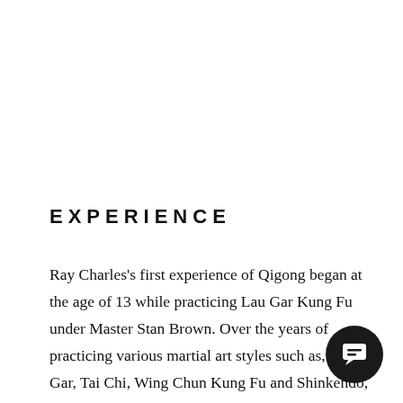EXPERIENCE
Ray Charles's first experience of Qigong began at the age of 13 while practicing Lau Gar Kung Fu under Master Stan Brown. Over the years of practicing various martial art styles such as, Lau Gar, Tai Chi, Wing Chun Kung Fu and Shinkendo, his passion for Qigong meditation grew. This in turn led Ray to research deeper into the art of Qigong, over 20 years